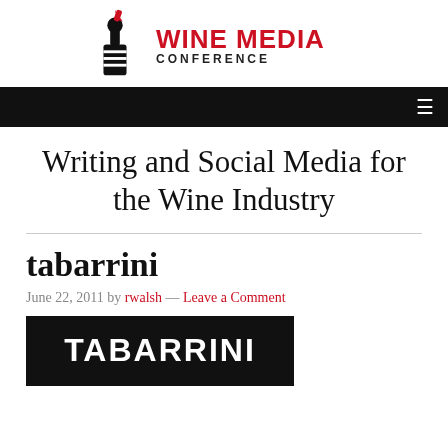[Figure (logo): Wine Media Conference logo with illustrated wine bottle/figure icon and red text reading WINE MEDIA CONFERENCE]
Navigation bar with hamburger menu icon
Writing and Social Media for the Wine Industry
tabarrini
June 22, 2011 by rwalsh — Leave a Comment
[Figure (logo): TABARRINI text logo in white bold uppercase letters on black background]